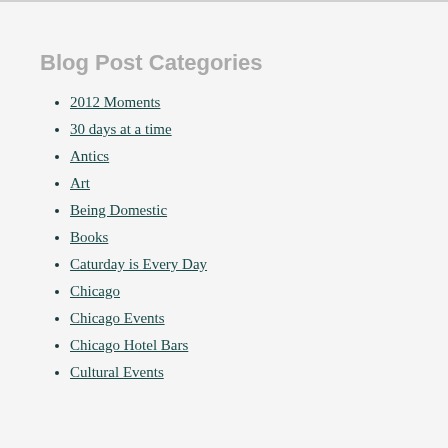Blog Post Categories
2012 Moments
30 days at a time
Antics
Art
Being Domestic
Books
Caturday is Every Day
Chicago
Chicago Events
Chicago Hotel Bars
Cultural Events